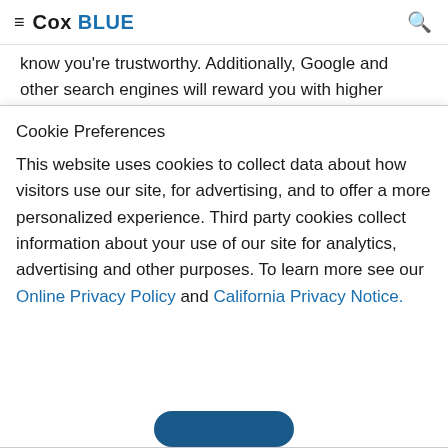Cox BLUE
know you're trustworthy. Additionally, Google and other search engines will reward you with higher rankings in results pages.
Cookie Preferences
This website uses cookies to collect data about how visitors use our site, for advertising, and to offer a more personalized experience. Third party cookies collect information about your use of our site for analytics, advertising and other purposes. To learn more see our Online Privacy Policy and California Privacy Notice.